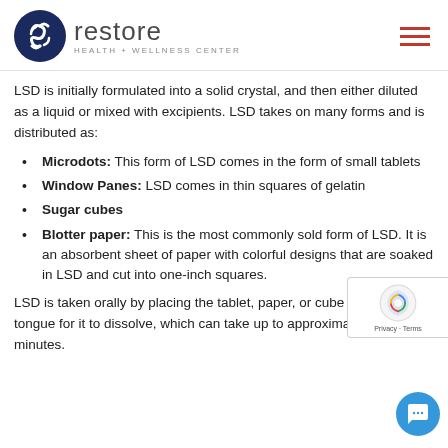restore HEALTH + WELLNESS CENTER
LSD is initially formulated into a solid crystal, and then either diluted as a liquid or mixed with excipients. LSD takes on many forms and is distributed as:
Microdots: This form of LSD comes in the form of small tablets
Window Panes: LSD comes in thin squares of gelatin
Sugar cubes
Blotter paper: This is the most commonly sold form of LSD. It is an absorbent sheet of paper with colorful designs that are soaked in LSD and cut into one-inch squares.
LSD is taken orally by placing the tablet, paper, or cube under the tongue for it to dissolve, which can take up to approximately 10 minutes.